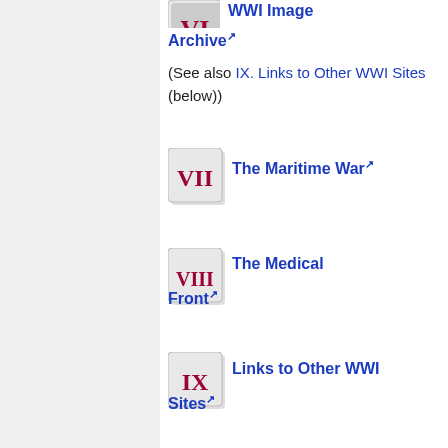[Figure (illustration): Roman numeral VI badge icon (partially visible at top)]
WWI Image Archive (See also IX. Links to Other WWI Sites (below))
[Figure (illustration): Roman numeral VII badge icon]
The Maritime War
[Figure (illustration): Roman numeral VIII badge icon]
The Medical Front
[Figure (illustration): Roman numeral IX badge icon]
Links to Other WWI Sites